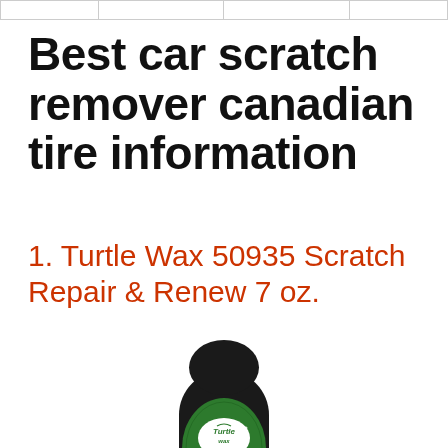|   |   |   |   |   |
Best car scratch remover canadian tire information
1. Turtle Wax 50935 Scratch Repair & Renew 7 oz.
[Figure (photo): Turtle Wax Scratch Repair & Renew product bottle with black cap, green hexagonal label and product images at bottom]